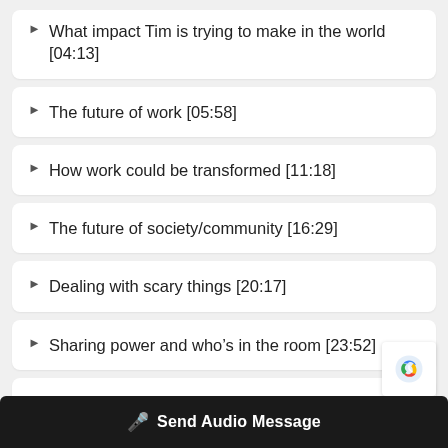▶ What impact Tim is trying to make in the world [04:13]
▶ The future of work [05:58]
▶ How work could be transformed [11:18]
▶ The future of society/community [16:29]
▶ Dealing with scary things [20:17]
▶ Sharing power and who's in the room [23:52]
▶ Ideas about building a